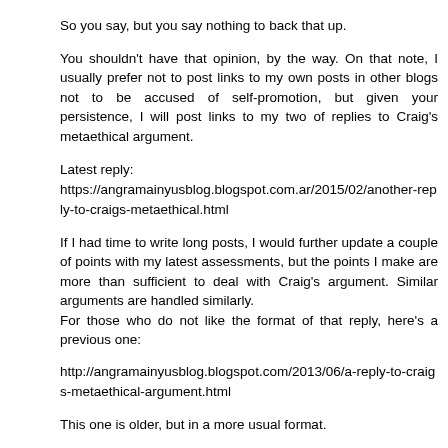So you say, but you say nothing to back that up.
You shouldn't have that opinion, by the way. On that note, I usually prefer not to post links to my own posts in other blogs not to be accused of self-promotion, but given your persistence, I will post links to my two of replies to Craig's metaethical argument.
Latest reply:
https://angramainyusblog.blogspot.com.ar/2015/02/another-reply-to-craigs-metaethical.html
If I had time to write long posts, I would further update a couple of points with my latest assessments, but the points I make are more than sufficient to deal with Craig's argument. Similar arguments are handled similarly.
For those who do not like the format of that reply, here's a previous one:
http://angramainyusblog.blogspot.com/2013/06/a-reply-to-craigs-metaethical-argument.html
This one is older, but in a more usual format.